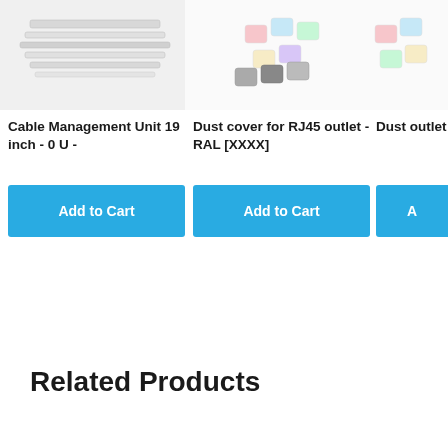[Figure (photo): Partial product image of Cable Management Unit 19 inch at top left, partially cropped]
[Figure (photo): Partial product image of colorful dust covers for RJ45 outlet at top center]
[Figure (photo): Partial product image of dust covers at top right, cropped at edge]
Cable Management Unit 19 inch - 0 U -
Dust cover for RJ45 outlet - RAL [XXXX]
Dust outlet
Add to Cart
Add to Cart
A
Related Products